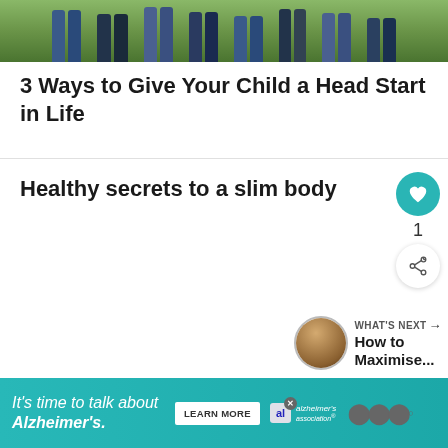[Figure (photo): Cropped photo showing the lower legs and feet of several people standing outdoors, wearing jeans, with a green parkway/garden background.]
3 Ways to Give Your Child a Head Start in Life
Healthy secrets to a slim body
1
[Figure (other): What's Next panel showing a circular thumbnail and text: How to Maximise...]
[Figure (other): Advertisement banner: It's time to talk about Alzheimer's. LEARN MORE. alzheimer's association logo.]